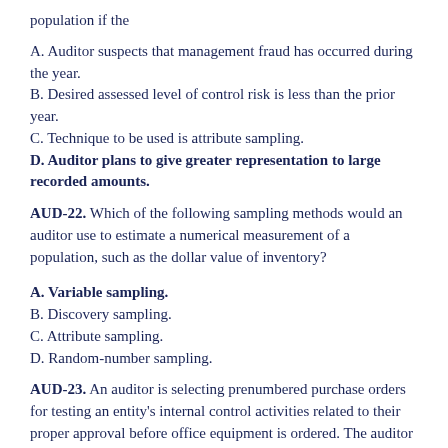population if the
A. Auditor suspects that management fraud has occurred during the year.
B. Desired assessed level of control risk is less than the prior year.
C. Technique to be used is attribute sampling.
D. Auditor plans to give greater representation to large recorded amounts.
AUD-22. Which of the following sampling methods would an auditor use to estimate a numerical measurement of a population, such as the dollar value of inventory?
A. Variable sampling.
B. Discovery sampling.
C. Attribute sampling.
D. Random-number sampling.
AUD-23. An auditor is selecting prenumbered purchase orders for testing an entity's internal control activities related to their proper approval before office equipment is ordered. The auditor is matching random numbers with